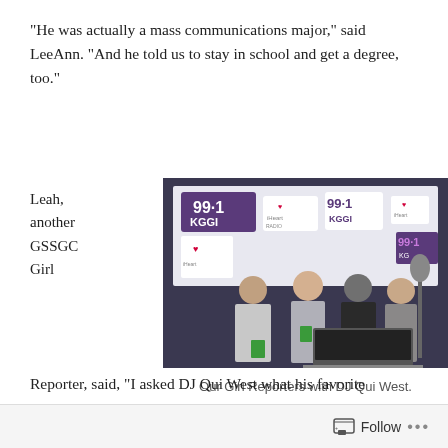“He was actually a mass communications major,” said LeeAnn. “And he told us to stay in school and get a degree, too.”
Leah, another GSSGC Girl
[Figure (photo): Group photo of Girl Reporters with DJ Qui West at a radio station, 99.1 KGGI and iHeart Radio branded backdrop, four people standing in front of broadcast equipment and laptop]
Our Girl Reporters with DJ Qui West.
Reporter, said, “I asked DJ Qui West what his favorite
Follow …